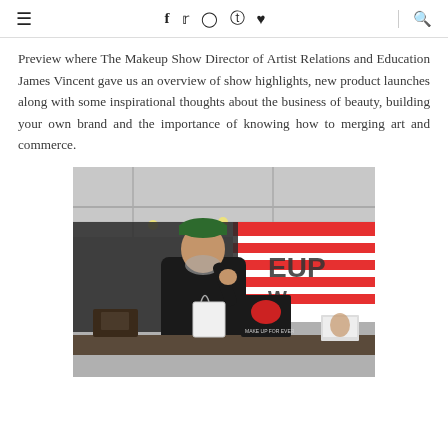≡  f  Twitter  Instagram  Pinterest  ♥  Search
Preview where The Makeup Show Director of Artist Relations and Education James Vincent gave us an overview of show highlights, new product launches along with some inspirational thoughts about the business of beauty, building your own brand and the importance of knowing how to merging art and commerce.
[Figure (photo): A man wearing a black t-shirt and green cap speaking or presenting at a makeup show event, with a MAKE UP FOR EVER tote bag on the table. Show branding visible in background.]